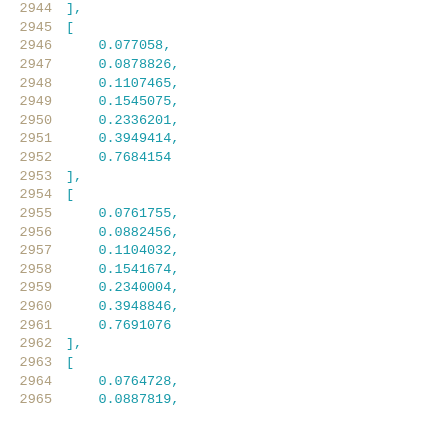2944  ],
2945  [
2946    0.077058,
2947    0.0878826,
2948    0.1107465,
2949    0.1545075,
2950    0.2336201,
2951    0.3949414,
2952    0.7684154
2953  ],
2954  [
2955    0.0761755,
2956    0.0882456,
2957    0.1104032,
2958    0.1541674,
2959    0.2340004,
2960    0.3948846,
2961    0.7691076
2962  ],
2963  [
2964    0.0764728,
2965    0.0887819,